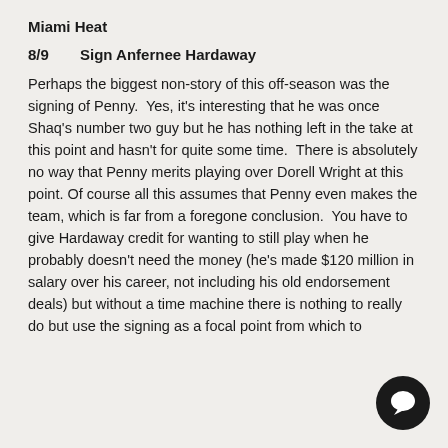Miami Heat
8/9    Sign Anfernee Hardaway
Perhaps the biggest non-story of this off-season was the signing of Penny.  Yes, it's interesting that he was once Shaq's number two guy but he has nothing left in the take at this point and hasn't for quite some time.  There is absolutely no way that Penny merits playing over Dorell Wright at this point. Of course all this assumes that Penny even makes the team, which is far from a foregone conclusion.  You have to give Hardaway credit for wanting to still play when he probably doesn't need the money (he's made $120 million in salary over his career, not including his old endorsement deals) but without a time machine there is nothing to really do but use the signing as a focal point from which to